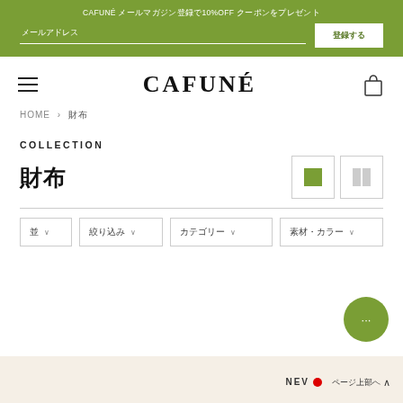CAFUNÉ メールマガジン登録で10%OFF クーポンをプレゼント
CAFUNÉ
HOME > 財布
COLLECTION
財布
並び替え ▾  絞り込み ▾  カテゴリー ▾  素材・カラー ▾